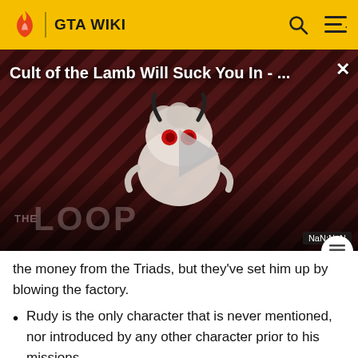GTA WIKI
[Figure (screenshot): Video thumbnail for 'Cult of the Lamb Will Suck You In - ...' with a dark red diagonal stripe background, a cartoon lamb/monster character, a play button in the center, and THE LOOP logo watermark. Duration shows NaN:NaN.]
the money from the Triads, but they've set him up by blowing the factory.
Rudy is the only character that is never mentioned, nor introduced by any other character prior to his missions.
Additionally, like [cut off]